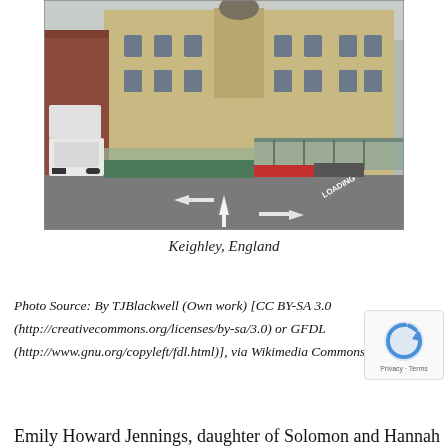[Figure (photo): Aerial/elevated view of Keighley, England town centre showing Victorian stone commercial buildings with arched windows and tower, glass-roofed market arcade/shopping canopy along the street, road markings including 'LOADING' text and arrows, parked white vans on the left side, pedestrians on the pavement, and overcast sky.]
Keighley, England
Photo Source: By TJBlackwell (Own work) [CC BY-SA 3.0 (http://creativecommons.org/licenses/by-sa/3.0) or GFDL (http://www.gnu.org/copyleft/fdl.html)], via Wikimedia Commons
Emily Howard Jennings, daughter of Solomon and Hannah